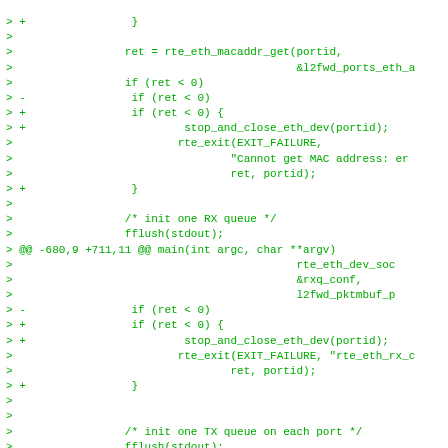[Figure (other): Code diff showing C source changes for Ethernet port initialization, including MAC address retrieval, RX queue setup, and TX queue setup with stop_and_close_eth_dev error handling added.]